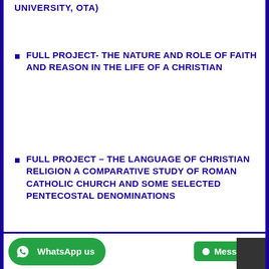UNIVERSITY, OTA)
FULL PROJECT- THE NATURE AND ROLE OF FAITH AND REASON IN THE LIFE OF A CHRISTIAN
FULL PROJECT – THE LANGUAGE OF CHRISTIAN RELIGION A COMPARATIVE STUDY OF ROMAN CATHOLIC CHURCH AND SOME SELECTED PENTECOSTAL DENOMINATIONS